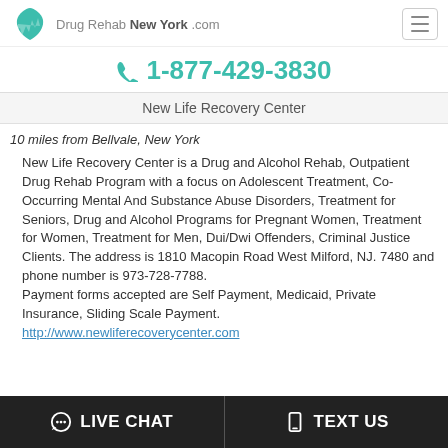Drug Rehab New York .com
1-877-429-3830
New Life Recovery Center
10 miles from Bellvale, New York
New Life Recovery Center is a Drug and Alcohol Rehab, Outpatient Drug Rehab Program with a focus on Adolescent Treatment, Co-Occurring Mental And Substance Abuse Disorders, Treatment for Seniors, Drug and Alcohol Programs for Pregnant Women, Treatment for Women, Treatment for Men, Dui/Dwi Offenders, Criminal Justice Clients. The address is 1810 Macopin Road West Milford, NJ. 7480 and phone number is 973-728-7788.
Payment forms accepted are Self Payment, Medicaid, Private Insurance, Sliding Scale Payment.
http://www.newliferecoverycenter.com
LIVE CHAT   TEXT US